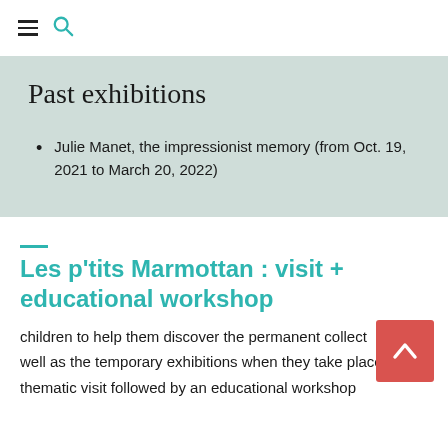≡ 🔍
Past exhibitions
Julie Manet, the impressionist memory (from Oct. 19, 2021 to March 20, 2022)
Les p'tits Marmottan : visit + educational workshop
children to help them discover the permanent collection as well as the temporary exhibitions when they take place. It is a thematic visit followed by an educational workshop